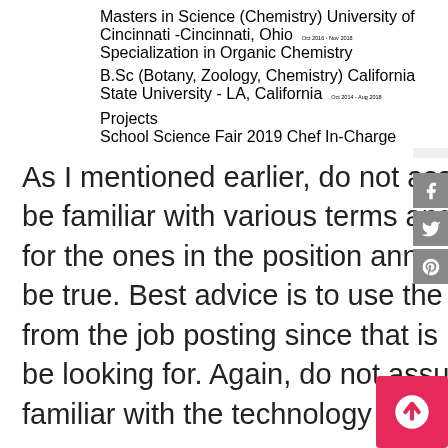[Figure (screenshot): Partial resume snippet showing Education and Projects sections. Masters in Science (Chemistry), University of Cincinnati -Cincinnati, Ohio Oct 2016 - Nov 2018, Specialization in Organic Chemistry. B.Sc (Botany, Zoology, Chemistry), California State University - LA, California Oct 2014 - Aug 2018. Projects section: School Science Fair 2019, Chef In-Charge, bullet points: Planed and Implemented the School Science Fair, Motivated the Student in participating in the program, Included in Pannel of Judges to select best science experiment.]
As I mentioned earlier, do not assume that a resume reviewer will be familiar with various terms and concepts that could substitute for the ones in the position announcement. That may or may not be true. Best advice is to use the potential employer's terminology from the job posting since that is most likely what reviewers will be looking for. Again, do not assume that the initial reviewers are familiar with the technology involved with the position.